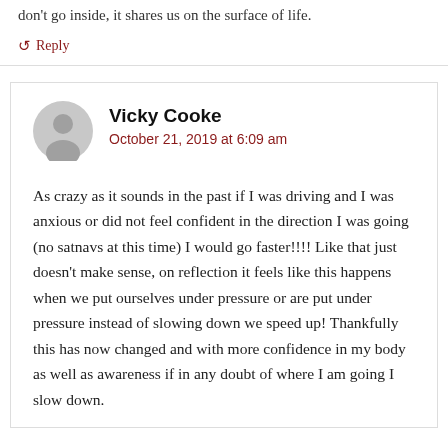don't go inside, it shares us on the surface of life.
↺ Reply
Vicky Cooke
October 21, 2019 at 6:09 am
As crazy as it sounds in the past if I was driving and I was anxious or did not feel confident in the direction I was going (no satnavs at this time) I would go faster!!!! Like that just doesn't make sense, on reflection it feels like this happens when we put ourselves under pressure or are put under pressure instead of slowing down we speed up! Thankfully this has now changed and with more confidence in my body as well as awareness if in any doubt of where I am going I slow down.